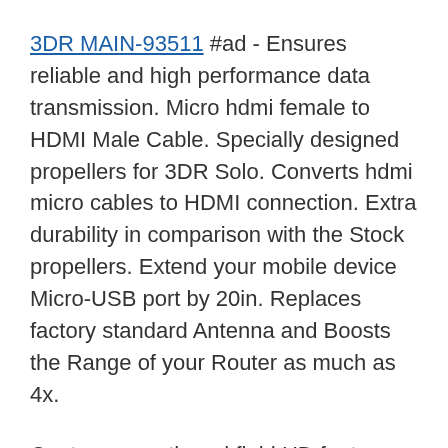3DR MAIN-93511 #ad - Ensures reliable and high performance data transmission. Micro hdmi female to HDMI Male Cable. Specially designed propellers for 3DR Solo. Converts hdmi micro cables to HDMI connection. Extra durability in comparison with the Stock propellers. Extend your mobile device Micro-USB port by 20in. Replaces factory standard Antenna and Boosts the Range of your Router as much as 4x.
Capture smooth and fluid HD footage every flight. Note, the gimbal is only good for 3dr drone, not suitable for other brands. The micro hdmi high speed female to mini hdmi male adapter lets your micro HDMI cable into any DC/DV with mini HDMI connection port. Product feature: new generic mini